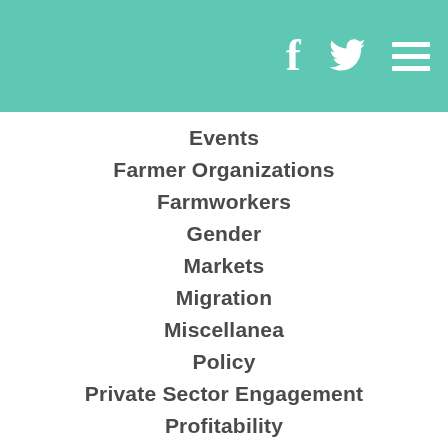Navigation header with Facebook, Twitter, and menu icons
Events
Farmer Organizations
Farmworkers
Gender
Markets
Migration
Miscellanea
Policy
Private Sector Engagement
Profitability
Resilience
Sustainability
Water And Natural Resources